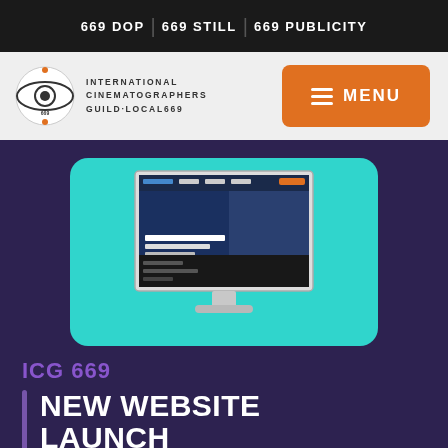669 DOP | 669 STILL | 669 PUBLICITY
[Figure (logo): International Cinematographers Guild Local 669 logo with eye emblem and text]
[Figure (screenshot): Desktop monitor showing ICG 669 website with film crew imagery and navigation]
ICG 669
NEW WEBSITE LAUNCH